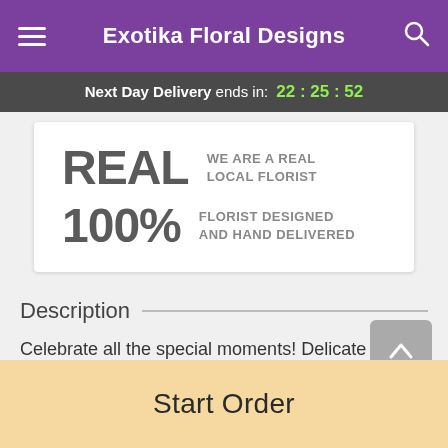Exotika Floral Designs
Next Day Delivery ends in: 22:25:52
REAL  WE ARE A REAL LOCAL FLORIST
100%  FLORIST DESIGNED AND HAND DELIVERED
Description
Celebrate all the special moments! Delicate and sweet, these fragrant blooms are a joyful gift for new moms, your
Start Order